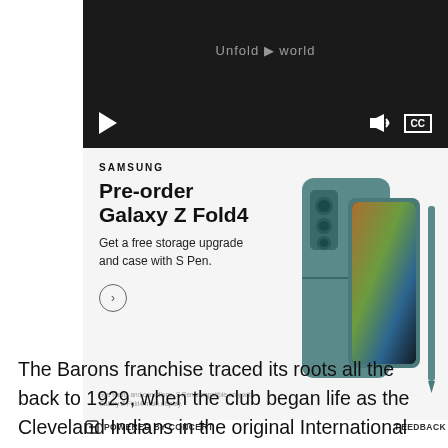[Figure (screenshot): Video player with dark background showing 'Unfold your world' text. Controls: play button on left, volume and CC buttons on right.]
[Figure (photo): Samsung advertisement for Galaxy Z Fold4. Text: SAMSUNG, Pre-order Galaxy Z Fold4, Get a free storage upgrade and case with S Pen. Shows image of teal Galaxy Z Fold4 phone with S Pen. Small print: See terms and conditions. S Pen compatible only with Galaxy Z Fold4 main display.]
POWERED BY CONCERT    FEEDBACK
The Barons franchise traced its roots all the back to 1929, when the club began life as the Cleveland Indians in the original International Hockey League